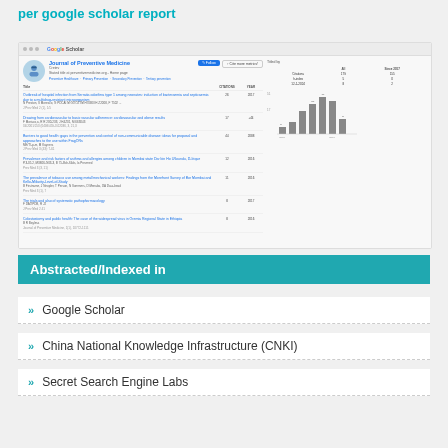per google scholar report
[Figure (screenshot): Google Scholar profile page for Journal of Preventive Medicine showing articles, citation counts, and a bar chart of citations by year.]
Abstracted/Indexed in
Google Scholar
China National Knowledge Infrastructure (CNKI)
Secret Search Engine Labs